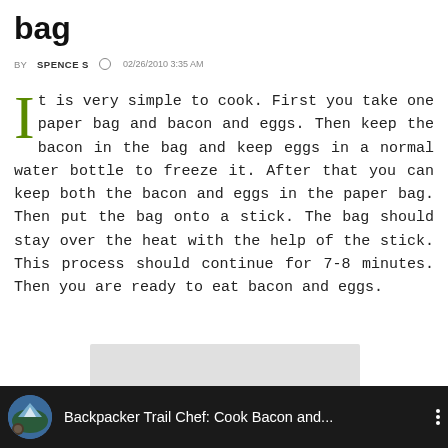bag
BY SPENCE S  02/26/2010 3:35 AM
It is very simple to cook. First you take one paper bag and bacon and eggs. Then keep the bacon in the bag and keep eggs in a normal water bottle to freeze it. After that you can keep both the bacon and eggs in the paper bag. Then put the bag onto a stick. The bag should stay over the heat with the help of the stick. This process should continue for 7-8 minutes. Then you are ready to eat bacon and eggs.
[Figure (other): Gray advertisement placeholder block]
[Figure (screenshot): Video thumbnail bar with circle image of mountain/hiker, dark background, title: Backpacker Trail Chef: Cook Bacon and..., three-dot menu icon]